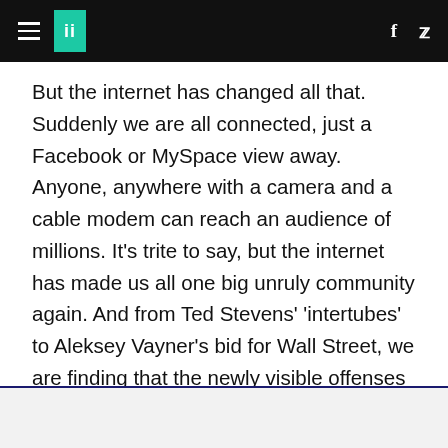HuffPost navigation header with hamburger menu, logo, Facebook and Twitter icons
But the internet has changed all that. Suddenly we are all connected, just a Facebook or MySpace view away. Anyone, anywhere with a camera and a cable modem can reach an audience of millions. It's trite to say, but the internet has made us all one big unruly community again. And from Ted Stevens' 'intertubes' to Aleksey Vayner's bid for Wall Street, we are finding that the newly visible offenses of our leaders, celebrities, politicians, executives, friends and neighbors are rife for public derision.